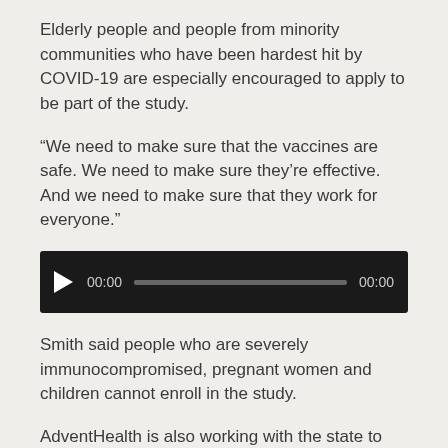Elderly people and people from minority communities who have been hardest hit by COVID-19 are especially encouraged to apply to be part of the study.
“We need to make sure that the vaccines are safe. We need to make sure they’re effective. And we need to make sure that they work for everyone.”
[Figure (other): Audio player widget with dark background, play button, time display showing 00:00, progress bar, and end time showing 00:00]
Smith said people who are severely immunocompromised, pregnant women and children cannot enroll in the study.
AdventHealth is also working with the state to distribute Pfizer’s vaccine if the FDA approves it, either at the end of this year or the beginning of 2021.